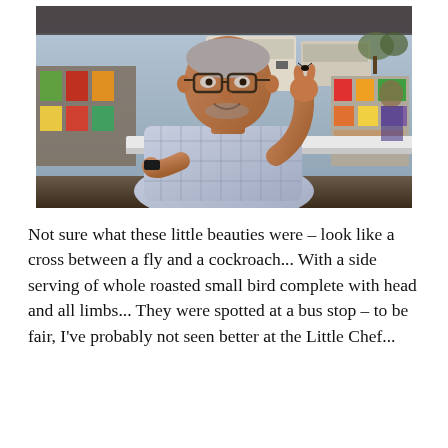[Figure (photo): A man wearing glasses and a checked shirt holds up a small dark insect between his fingers, smiling at an outdoor market or bus stop food stall with shelves of snacks and buses visible in the background.]
Not sure what these little beauties were – look like a cross between a fly and a cockroach... With a side serving of whole roasted small bird complete with head and all limbs... They were spotted at a bus stop – to be fair, I've probably not seen better at the Little Chef...